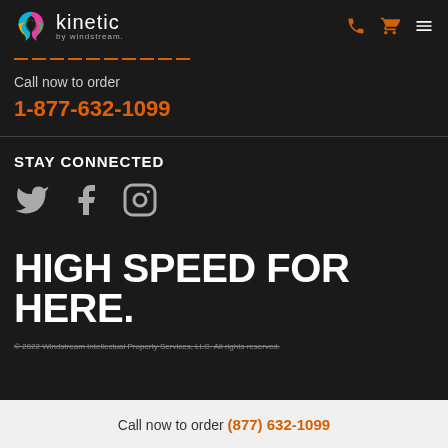kinetic by windstream. [nav icons: phone, cart, menu]
Call now to order
1-877-632-1099
STAY CONNECTED
[Figure (other): Social media icons: Twitter bird, Facebook F, Instagram camera]
HIGH SPEED FOR HERE.
© 2022 Windstream Intellectual Property Services, LLC. All rights reserved.
Call now to order (877) 632-1099